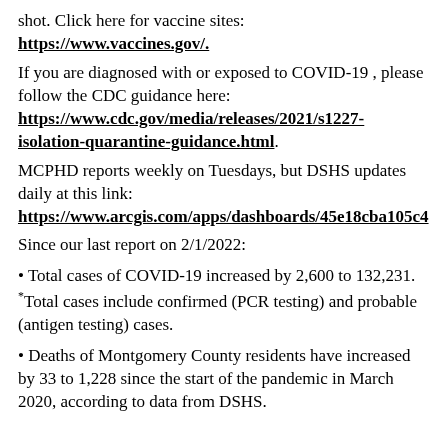shot. Click here for vaccine sites: https://www.vaccines.gov/.
If you are diagnosed with or exposed to COVID-19 , please follow the CDC guidance here: https://www.cdc.gov/media/releases/2021/s1227-isolation-quarantine-guidance.html.
MCPHD reports weekly on Tuesdays, but DSHS updates daily at this link: https://www.arcgis.com/apps/dashboards/45e18cba105c4
Since our last report on 2/1/2022:
• Total cases of COVID-19 increased by 2,600 to 132,231. *Total cases include confirmed (PCR testing) and probable (antigen testing) cases.
• Deaths of Montgomery County residents have increased by 33 to 1,228 since the start of the pandemic in March 2020, according to data from DSHS.